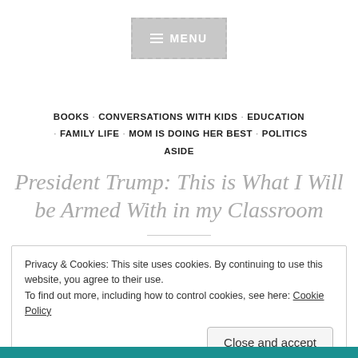[Figure (other): Navigation menu button with hamburger icon and text MENU, grey background with dashed border]
BOOKS · CONVERSATIONS WITH KIDS · EDUCATION · FAMILY LIFE · MOM IS DOING HER BEST · POLITICS ASIDE
President Trump: This is What I Will be Armed With in my Classroom
Privacy & Cookies: This site uses cookies. By continuing to use this website, you agree to their use.
To find out more, including how to control cookies, see here: Cookie Policy
Close and accept